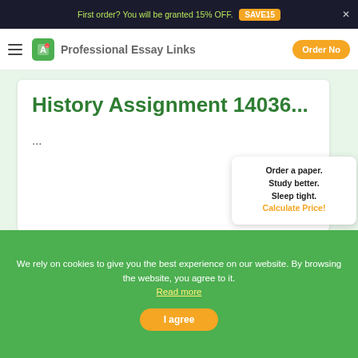First order? You will be granted 15% OFF. SAVE15
Professional Essay Links  Order Now
History Assignment 14036...
...
Order a paper. Study better. Sleep tight. Calculate Price!
We rely on cookies to give you the best experience on our website. By browsing the website, you agree to it. Read more
I agree